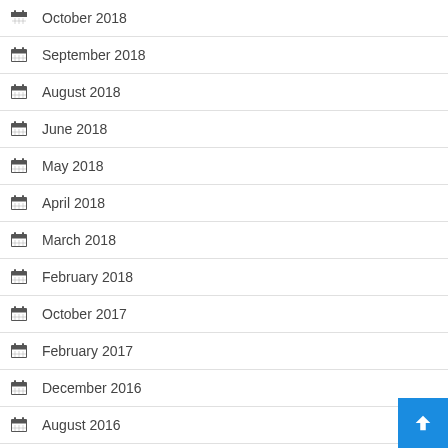October 2018
September 2018
August 2018
June 2018
May 2018
April 2018
March 2018
February 2018
October 2017
February 2017
December 2016
August 2016
May 2016